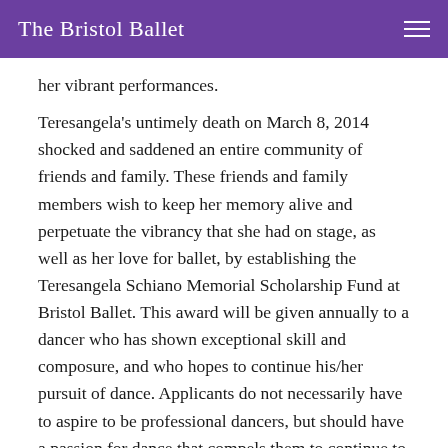The Bristol Ballet
her vibrant performances.
Teresangela's untimely death on March 8, 2014 shocked and saddened an entire community of friends and family. These friends and family members wish to keep her memory alive and perpetuate the vibrancy that she had on stage, as well as her love for ballet, by establishing the Teresangela Schiano Memorial Scholarship Fund at Bristol Ballet. This award will be given annually to a dancer who has shown exceptional skill and composure, and who hopes to continue his/her pursuit of dance. Applicants do not necessarily have to aspire to be professional dancers, but should have a passion for dance that compels them to continue to progress.